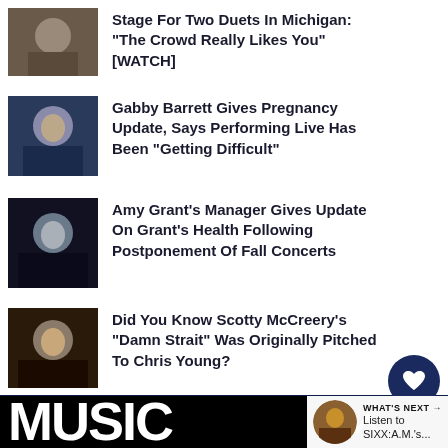Stage For Two Duets In Michigan: "The Crowd Really Likes You" [WATCH]
Gabby Barrett Gives Pregnancy Update, Says Performing Live Has Been "Getting Difficult"
Amy Grant's Manager Gives Update On Grant's Health Following Postponement Of Fall Concerts
Did You Know Scotty McCreery's "Damn Strait" Was Originally Pitched To Chris Young?
[Figure (screenshot): Music-related website footer with MUSIC logo in white on black background, WHAT'S NEXT bar with SIXX:A.M. thumbnail, heart and share floating action buttons showing 2.3K count]